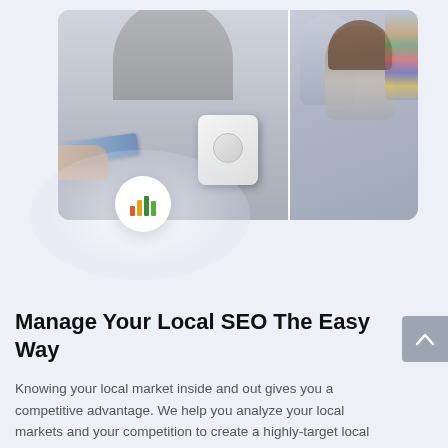[Figure (photo): Collage of two business/retail photos: left shows a person using a Square card reader payment terminal with a hand presenting a credit card; right shows a smiling woman with brown hair looking at documents with another person. Below the photos is a circular white badge with a colorful bar chart icon.]
Manage Your Local SEO The Easy Way
Knowing your local market inside and out gives you a competitive advantage. We help you analyze your local markets and your competition to create a highly-target local marketing campaign that delivers exactly